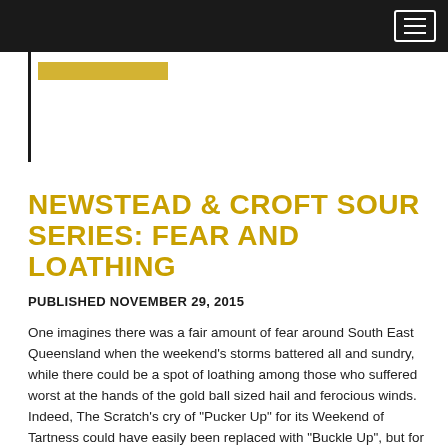NEWSTEAD & CROFT SOUR SERIES: FEAR AND LOATHING
PUBLISHED NOVEMBER 29, 2015
One imagines there was a fair amount of fear around South East Queensland when the weekend's storms battered all and sundry, while there could be a spot of loathing among those who suffered worst at the hands of the gold ball sized hail and ferocious winds. Indeed, The Scratch's cry of "Pucker Up" for its Weekend of Tartness could have easily been replaced with "Buckle Up", but for those who braved the elements and made it to the safe harbour of the Milton bar there was a chance... Read more ▶